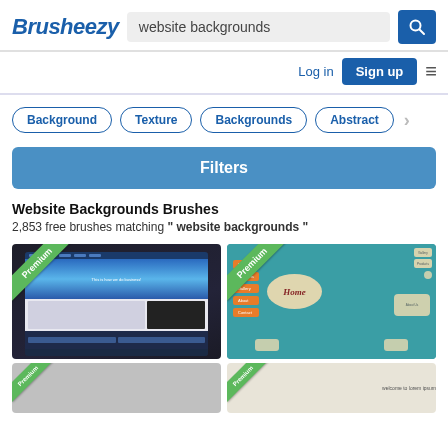Brusheezy — website backgrounds search page
website backgrounds
Background
Texture
Backgrounds
Abstract
Filters
Website Backgrounds Brushes
2,853 free brushes matching " website backgrounds "
[Figure (screenshot): Premium website template thumbnail with dark background and blue waves]
[Figure (screenshot): Premium website template thumbnail with teal background and hexagonal menu shapes showing Home, Gallery, Products, About, Contact with cream/beige hexagon shapes]
[Figure (screenshot): Partial thumbnail bottom-left]
[Figure (screenshot): Partial thumbnail bottom-right with lorem ipsum website template]